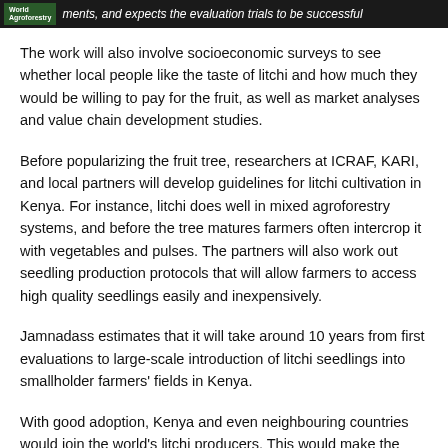World Agroforestry ... ments, and expects the evaluation trials to be successful
The work will also involve socioeconomic surveys to see whether local people like the taste of litchi and how much they would be willing to pay for the fruit, as well as market analyses and value chain development studies.
Before popularizing the fruit tree, researchers at ICRAF, KARI, and local partners will develop guidelines for litchi cultivation in Kenya. For instance, litchi does well in mixed agroforestry systems, and before the tree matures farmers often intercrop it with vegetables and pulses. The partners will also work out seedling production protocols that will allow farmers to access high quality seedlings easily and inexpensively.
Jamnadass estimates that it will take around 10 years from first evaluations to large-scale introduction of litchi seedlings into smallholder farmers' fields in Kenya.
With good adoption, Kenya and even neighbouring countries would join the world's litchi producers. This would make the labat able...